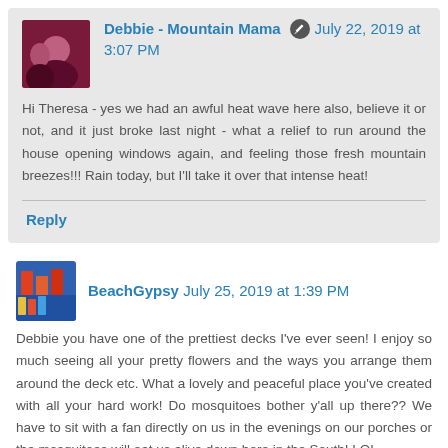Debbie - Mountain Mama  July 22, 2019 at 3:07 PM
Hi Theresa - yes we had an awful heat wave here also, believe it or not, and it just broke last night - what a relief to run around the house opening windows again, and feeling those fresh mountain breezes!!! Rain today, but I'll take it over that intense heat!
Reply
BeachGypsy  July 25, 2019 at 1:39 PM
Debbie you have one of the prettiest decks I've ever seen! I enjoy so much seeing all your pretty flowers and the ways you arrange them around the deck etc. What a lovely and peaceful place you've created with all your hard work! Do mosquitoes bother y'all up there?? We have to sit with a fan directly on us in the evenings on our porches or the mosquitoes will eat us alive down here in the South! LOL